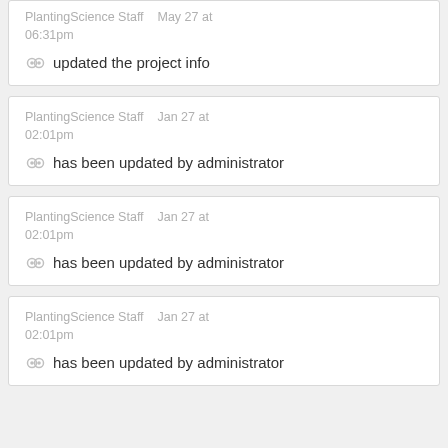PlantingScience Staff   May 27 at 06:31pm
updated the project info
PlantingScience Staff   Jan 27 at 02:01pm
has been updated by administrator
PlantingScience Staff   Jan 27 at 02:01pm
has been updated by administrator
PlantingScience Staff   Jan 27 at 02:01pm
has been updated by administrator